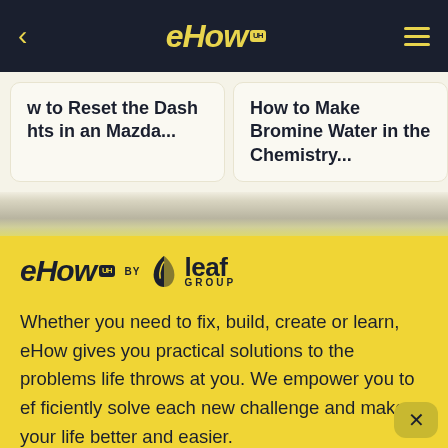eHow UH
w to Reset the Dash
hts in an Mazda...
How to Make Bromine Water in the Chemistry...
[Figure (logo): eHow UH by Leaf Group logo on yellow background]
Whether you need to fix, build, create or learn, eHow gives you practical solutions to the problems life throws at you. We empower you to efficiently solve each new challenge and make your life better and easier.